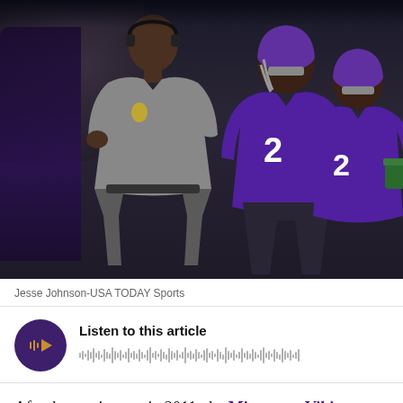[Figure (photo): NFL coach in gray polo shirt with headset standing on sideline, with Minnesota Vikings players in purple jerseys in background]
Jesse Johnson-USA TODAY Sports
[Figure (other): Audio player widget with purple circular play button and waveform visualization. Label reads: Listen to this article]
After bottoming out in 2011, the Minnesota Vikings have accumulated a lot of talent over the past couple